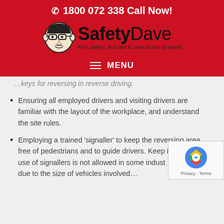☎ 1800 072 338 Call Now!
[Figure (logo): Safety Dave logo with illustrated face, bold text 'SafetyDave' and tagline 'Fire safety, first aid & rear vision systems']
MENU
…keys for reversing in reverse driving.
Ensuring all employed drivers and visiting drivers are familiar with the layout of the workplace, and understand the site rules.
Employing a trained 'signaller' to keep the reversing area free of pedestrians and to guide drivers. Keep in mind, the use of signallers is not allowed in some indust… due to the size of vehicles involved…